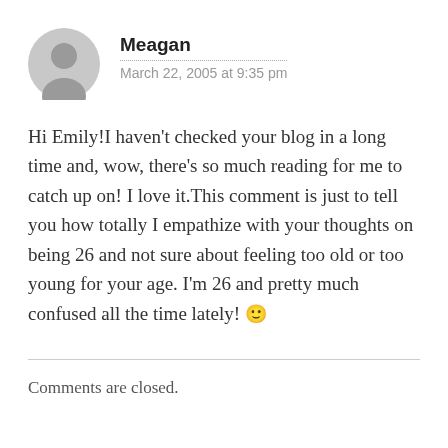Meagan
March 22, 2005 at 9:35 pm
Hi Emily!I haven't checked your blog in a long time and, wow, there's so much reading for me to catch up on! I love it.This comment is just to tell you how totally I empathize with your thoughts on being 26 and not sure about feeling too old or too young for your age. I'm 26 and pretty much confused all the time lately! 🙂
Comments are closed.